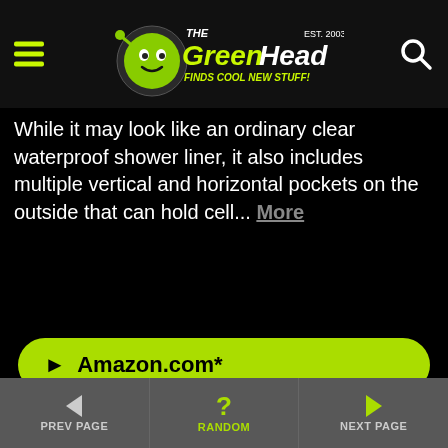The Green Head - Finds Cool New Stuff!
While it may look like an ordinary clear waterproof shower liner, it also includes multiple vertical and horizontal pockets on the outside that can hold cell... More
► Amazon.com*
[Figure (photo): Retro-style wooden television set with red screen showing 'ZOOM' text and cartoon character, hand inserting something into the side]
PREV PAGE | RANDOM | NEXT PAGE